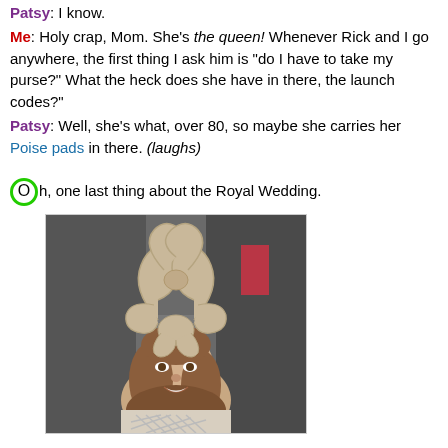Patsy: I know.
Me: Holy crap, Mom. She's the queen! Whenever Rick and I go anywhere, the first thing I ask him is "do I have to take my purse?" What the heck does she have in there, the launch codes?"
Patsy: Well, she's what, over 80, so maybe she carries her Poise pads in there. (laughs)
Oh, one last thing about the Royal Wedding.
[Figure (photo): A person wearing an elaborate sculptural hat/fascinator with looping shapes, smiling at camera, wearing a cream colored outfit with lattice neckline detail]